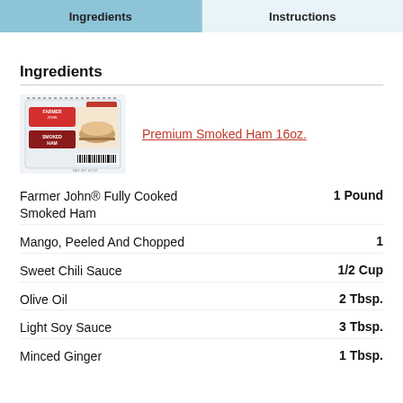Ingredients | Instructions
Ingredients
[Figure (photo): Farmer John Premium Smoked Ham 16oz product package image]
Premium Smoked Ham 16oz.
Farmer John® Fully Cooked Smoked Ham — 1 Pound
Mango, Peeled And Chopped — 1
Sweet Chili Sauce — 1/2 Cup
Olive Oil — 2 Tbsp.
Light Soy Sauce — 3 Tbsp.
Minced Ginger — 1 Tbsp.